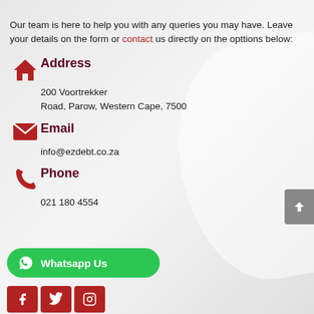Our team is here to help you with any queries you may have. Leave your details on the form or contact us directly on the opttions below:
Address
200 Voortrekker Road, Parow, Western Cape, 7500
Email
info@ezdebt.co.za
Phone
021 180 4554
Whatsapp Us